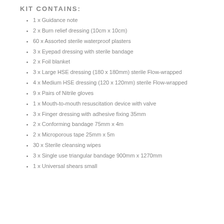KIT CONTAINS:
1 x Guidance note
2 x Burn relief dressing (10cm x 10cm)
60 x Assorted sterile waterproof plasters
3 x Eyepad dressing with sterile bandage
2 x Foil blanket
3 x Large HSE dressing (180 x 180mm) sterile Flow-wrapped
4 x Medium HSE dressing (120 x 120mm) sterile Flow-wrapped
9 x Pairs of Nitrile gloves
1 x Mouth-to-mouth resuscitation device with valve
3 x Finger dressing with adhesive fixing 35mm
2 x Conforming bandage 75mm x 4m
2 x Microporous tape 25mm x 5m
30 x Sterile cleansing wipes
3 x Single use triangular bandage 900mm x 1270mm
1 x Universal shears small